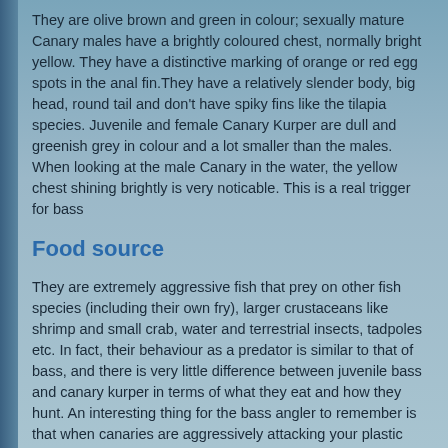They are olive brown and green in colour; sexually mature Canary males have a brightly coloured chest, normally bright yellow. They have a distinctive marking of orange or red egg spots in the anal fin.They have a relatively slender body, big head, round tail and don't have spiky fins like the tilapia species. Juvenile and female Canary Kurper are dull and greenish grey in colour and a lot smaller than the males. When looking at the male Canary in the water, the yellow chest shining brightly is very noticable. This is a real trigger for bass
Food source
They are extremely aggressive fish that prey on other fish species (including their own fry), larger crustaceans like shrimp and small crab, water and terrestrial insects, tadpoles etc. In fact, their behaviour as a predator is similar to that of bass, and there is very little difference between juvenile bass and canary kurper in terms of what they eat and how they hunt. An interesting thing for the bass angler to remember is that when canaries are aggressively attacking your plastic lures, conditions are favourable for bass fishing; you just have to find the